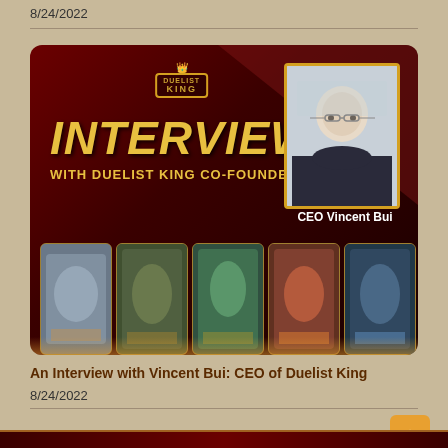8/24/2022
[Figure (photo): Duelist King Interview banner with CEO Vincent Bui photo and game card artwork]
An Interview with Vincent Bui: CEO of Duelist King
8/24/2022